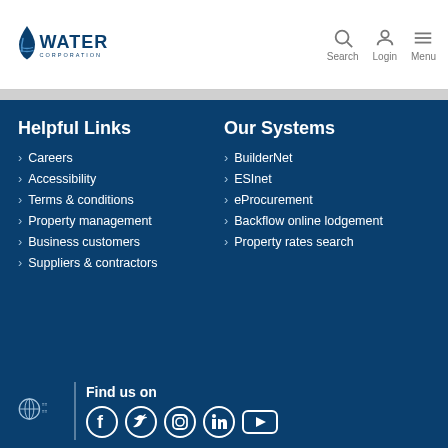Water Corporation | Search | Login | Menu
Helpful Links
Careers
Accessibility
Terms & conditions
Property management
Business customers
Suppliers & contractors
Our Systems
BuilderNet
ESInet
eProcurement
Backflow online lodgement
Property rates search
Find us on